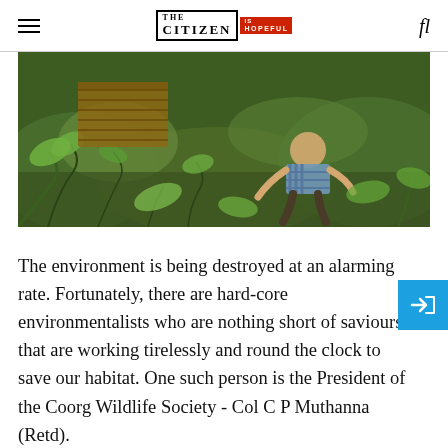THE CITIZEN IS HOPEFUL
[Figure (photo): A person crouching among dense green vegetation on a hillside, with wooden structures visible in the background. Lush jungle/forest environment.]
The environment is being destroyed at an alarming rate. Fortunately, there are hard-core environmentalists who are nothing short of saviours that are working tirelessly and round the clock to save our habitat. One such person is the President of the Coorg Wildlife Society - Col C P Muthanna (Retd).